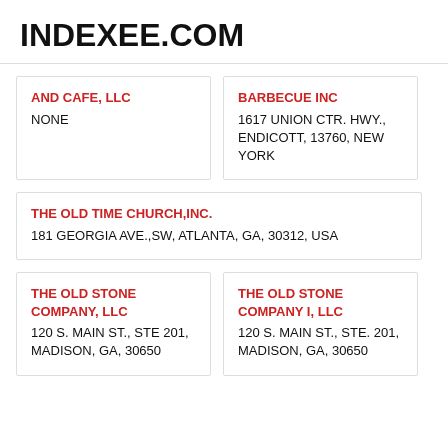INDEXEE.COM
AND CAFE, LLC
NONE
BARBECUE INC
1617 UNION CTR. HWY., ENDICOTT, 13760, NEW YORK
THE OLD TIME CHURCH,INC.
181 GEORGIA AVE.,SW, ATLANTA, GA, 30312, USA
THE OLD STONE COMPANY, LLC
120 S. MAIN ST., STE 201, MADISON, GA, 30650
THE OLD STONE COMPANY I, LLC
120 S. MAIN ST., STE. 201, MADISON, GA, 30650